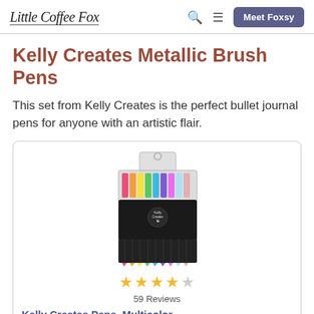Little Coffee Fox | Meet Foxsy
Kelly Creates Metallic Brush Pens
This set from Kelly Creates is the perfect bullet journal pens for anyone with an artistic flair.
[Figure (photo): Product photo of Kelly Creates Metallic Brush Pens set in packaging, showing colorful brush tips and black pen bodies]
59 Reviews (4 out of 5 stars)
Kelly Creates Pens, Multicolor